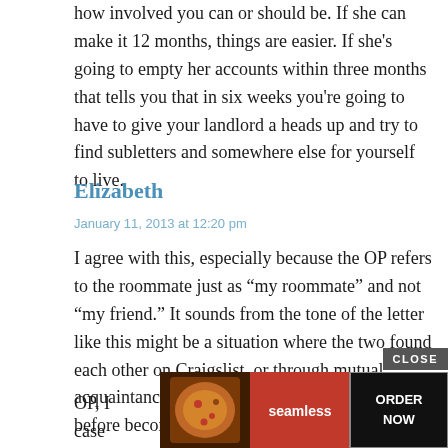how involved you can or should be. If she can make it 12 months, things are easier. If she’s going to empty her accounts within three months that tells you that in six weeks you’re going to have to give your landlord a heads up and try to find subletters and somewhere else for yourself to live.
Elizabeth
January 11, 2013 at 12:20 pm
I agree with this, especially because the OP refers to the roommate just as “my roommate” and not “my friend.” It sounds from the tone of the letter like this might be a situation where the two found each other on Craigslist, or through mutual acquaintances, rather than having a friendship before becoming roommates.
OP, I… [worst-case] …like
[Figure (other): Seamless food delivery advertisement overlay with pizza image on dark background, red Seamless logo, and ORDER NOW button with CLOSE button]